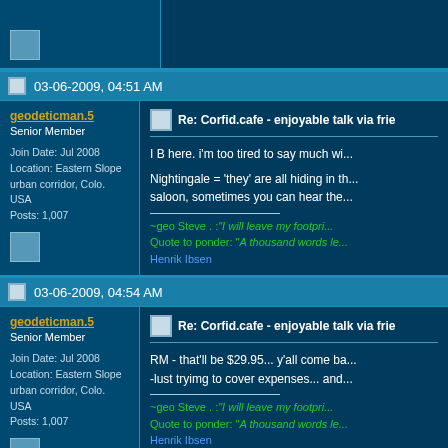[Figure (screenshot): Partial top of a forum post showing a user icon at bottom left]
03-06-2009, 04:51 AM
geodeticman.5
Senior Member

Join Date: Jul 2008
Location: Eastern Slope urban corridor, Colo. USA
Posts: 1,007
Re: Corfid.cafe - enjoyable talk via frie...

I B here. i'm too tired to say much wi...

Nightingale = 'they' are all hiding in th... saloon, sometimes you can hear the...

~geo Steve . :"I will leave my footpri... Quote to ponder: "A thousand words le... Henrik Ibsen
03-06-2009, 04:54 AM
geodeticman.5
Senior Member

Join Date: Jul 2008
Location: Eastern Slope urban corridor, Colo. USA
Posts: 1,007
Re: Corfid.cafe - enjoyable talk via frie...

RM - that'll be $29.95... y'all come ba... -lust tryimg to cover expenses... and...

~geo Steve . :"I will leave my footpri... Quote to ponder: "A thousand words le... Henrik Ibsen